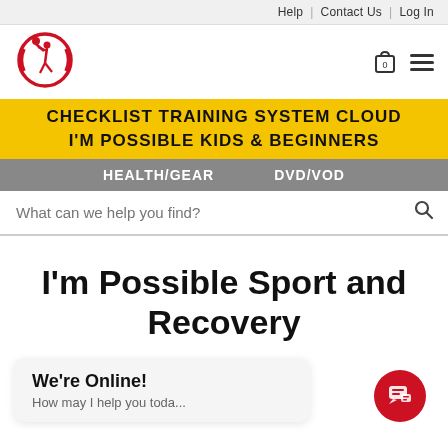Help | Contact Us | Log In
[Figure (logo): Red circular logo with basketball player figure jumping]
CHECKLIST TRAINING SYSTEM CLOUD
I'M POSSIBLE KIDS & BEGINNERS
HEALTH/GEAR     DVD/VOD
What can we help you find?
I'm Possible Sport and Recovery
We're Online!
How may I help you toda...